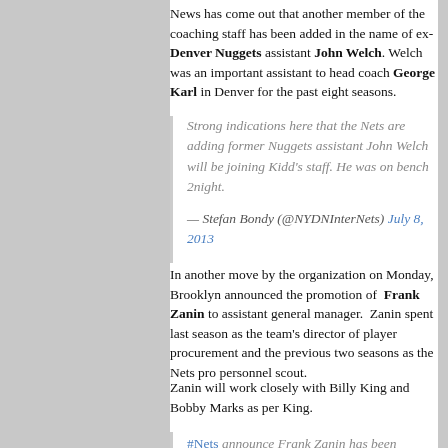News has come out that another member of the coaching staff has been added in the name of ex-Denver Nuggets assistant John Welch. Welch was an important assistant to head coach George Karl in Denver for the past eight seasons.
Strong indications here that the Nets are adding former Nuggets assistant John Welch will be joining Kidd's staff. He was on bench 2night.

— Stefan Bondy (@NYDNInterNets) July 8, 2013
In another move by the organization on Monday, Brooklyn announced the promotion of Frank Zanin to assistant general manager. Zanin spent last season as the team's director of player procurement and the previous two seasons as the Nets pro personnel scout.
Zanin will work closely with Billy King and Bobby Marks as per King.
#Nets announce Frank Zanin has been